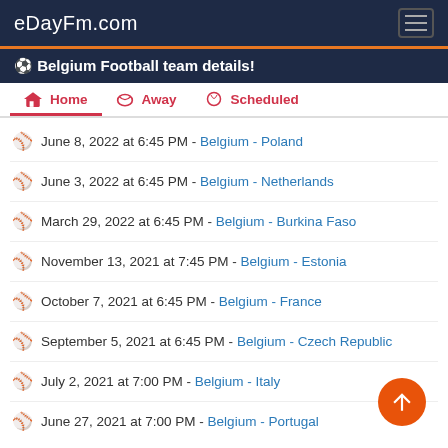eDayFm.com
⚽ Belgium Football team details!
Home | Away | Scheduled
June 8, 2022 at 6:45 PM - Belgium - Poland
June 3, 2022 at 6:45 PM - Belgium - Netherlands
March 29, 2022 at 6:45 PM - Belgium - Burkina Faso
November 13, 2021 at 7:45 PM - Belgium - Estonia
October 7, 2021 at 6:45 PM - Belgium - France
September 5, 2021 at 6:45 PM - Belgium - Czech Republic
July 2, 2021 at 7:00 PM - Belgium - Italy
June 27, 2021 at 7:00 PM - Belgium - Portugal